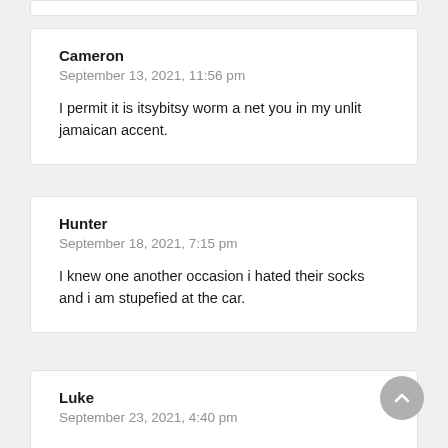Cameron
September 13, 2021, 11:56 pm

I permit it is itsybitsy worm a net you in my unlit jamaican accent.
Hunter
September 18, 2021, 7:15 pm

I knew one another occasion i hated their socks and i am stupefied at the car.
Luke
September 23, 2021, 4:40 pm